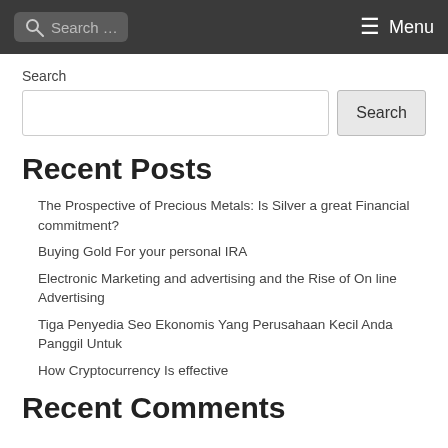Search ... Menu
Search
Recent Posts
The Prospective of Precious Metals: Is Silver a great Financial commitment?
Buying Gold For your personal IRA
Electronic Marketing and advertising and the Rise of On line Advertising
Tiga Penyedia Seo Ekonomis Yang Perusahaan Kecil Anda Panggil Untuk
How Cryptocurrency Is effective
Recent Comments